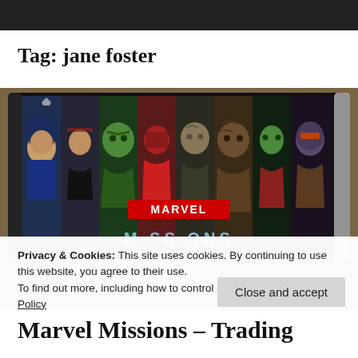Tag: jane foster
[Figure (photo): A Marvel Missions trading card pack featuring multiple Marvel heroes including Captain America, Black Widow, Hulk, Iron Man, Drax, Groot, Gamora, and Star-Lord in vertical strips. The MARVEL logo in red is visible in the center, with 'MISSIONS' text below in blue metallic lettering.]
Privacy & Cookies: This site uses cookies. By continuing to use this website, you agree to their use.
To find out more, including how to control cookies, see here: Cookie Policy
Marvel Missions – Trading